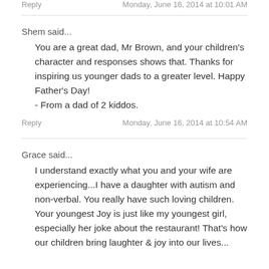Reply    Monday, June 16, 2014 at 10:01 AM
Shem said...
You are a great dad, Mr Brown, and your children's character and responses shows that. Thanks for inspiring us younger dads to a greater level. Happy Father's Day!
- From a dad of 2 kiddos.
Reply    Monday, June 16, 2014 at 10:54 AM
Grace said...
I understand exactly what you and your wife are experiencing...I have a daughter with autism and non-verbal. You really have such loving children. Your youngest Joy is just like my youngest girl, especially her joke about the restaurant! That's how our children bring laughter & joy into our lives...